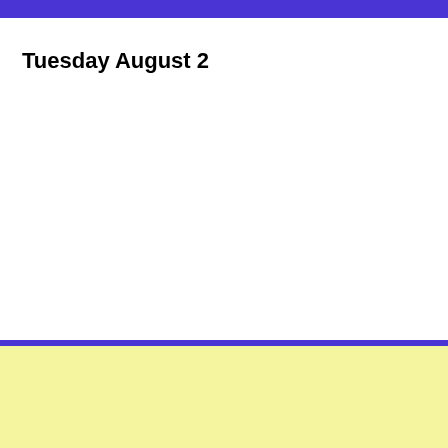Tuesday August 2
If you're a sounder,  become a supporter
Join us on Patreon & Discord